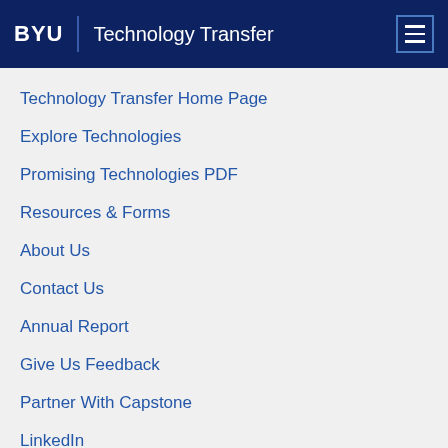BYU | Technology Transfer
Technology Transfer Home Page
Explore Technologies
Promising Technologies PDF
Resources & Forms
About Us
Contact Us
Annual Report
Give Us Feedback
Partner With Capstone
LinkedIn
Donate
TECHNOLOGY CATEGORIES